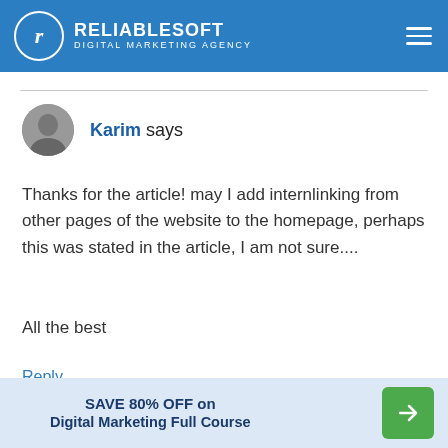RELIABLESOFT DIGITAL MARKETING AGENCY
Karim says
Thanks for the article! may I add internlinking from other pages of the website to the homepage, perhaps this was stated in the article, I am not sure....
All the best
Reply
SAVE 80% OFF on Digital Marketing Full Course